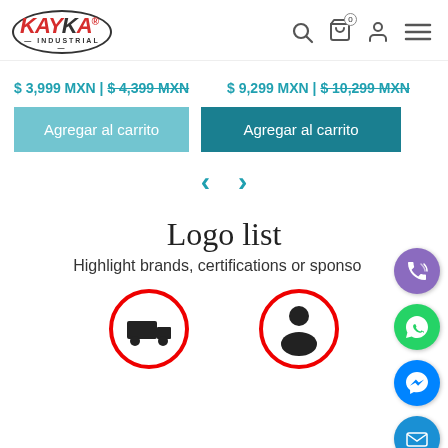KAYKA INDUSTRIAL — navigation header with search, cart, account, menu icons
$ 3,999 MXN | $ 4,399 MXN
$ 9,299 MXN | $ 10,299 MXN
Agregar al carrito
Agregar al carrito
Logo list
Highlight brands, certifications or sponso
[Figure (illustration): Two circular icons with red borders showing industrial symbols, partially cropped at bottom]
[Figure (illustration): Floating action buttons on right side: phone (purple), WhatsApp (green), Messenger (blue), email (blue)]